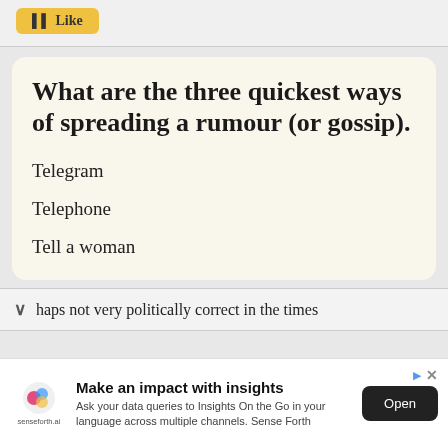[Figure (screenshot): Like button UI element with yellow background]
What are the three quickest ways of spreading a rumour (or gossip).
Telegram
Telephone
Tell a woman
haps not very politically correct in the times
[Figure (screenshot): Advertisement banner: Make an impact with insights. Ask your data queries to Insights On the Go in your language across multiple channels. Sense Forth. Open button.]